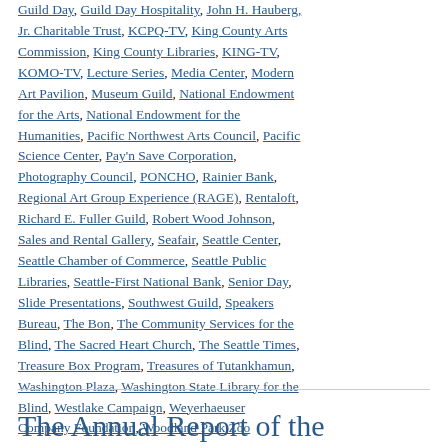Guild Day, Guild Day Hospitality, John H. Hauberg, Jr. Charitable Trust, KCPQ-TV, King County Arts Commission, King County Libraries, KING-TV, KOMO-TV, Lecture Series, Media Center, Modern Art Pavilion, Museum Guild, National Endowment for the Arts, National Endowment for the Humanities, Pacific Northwest Arts Council, Pacific Science Center, Pay'n Save Corporation, Photography Council, PONCHO, Rainier Bank, Regional Art Group Experience (RAGE), Rentaloft, Richard E. Fuller Guild, Robert Wood Johnson, Sales and Rental Gallery, Seafair, Seattle Center, Seattle Chamber of Commerce, Seattle Public Libraries, Seattle-First National Bank, Senior Day, Slide Presentations, Southwest Guild, Speakers Bureau, The Bon, The Community Services for the Blind, The Sacred Heart Church, The Seattle Times, Treasure Box Program, Treasures of Tutankhamun, Washington Plaza, Washington State Library for the Blind, Westlake Campaign, Weyerhaeuser Company Foundation, Woodland Park Zoo
The Annual Report of the